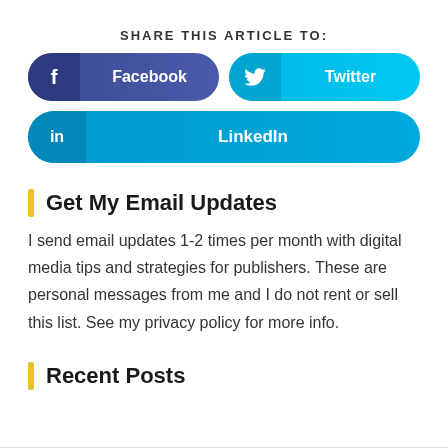SHARE THIS ARTICLE TO:
[Figure (infographic): Social share buttons for Facebook, Twitter, and LinkedIn]
Get My Email Updates
I send email updates 1-2 times per month with digital media tips and strategies for publishers. These are personal messages from me and I do not rent or sell this list. See my privacy policy for more info.
Recent Posts